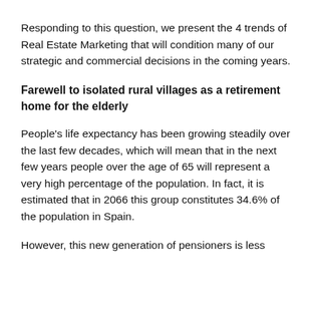Responding to this question, we present the 4 trends of Real Estate Marketing that will condition many of our strategic and commercial decisions in the coming years.
Farewell to isolated rural villages as a retirement home for the elderly
People's life expectancy has been growing steadily over the last few decades, which will mean that in the next few years people over the age of 65 will represent a very high percentage of the population. In fact, it is estimated that in 2066 this group constitutes 34.6% of the population in Spain.
However, this new generation of pensioners is less